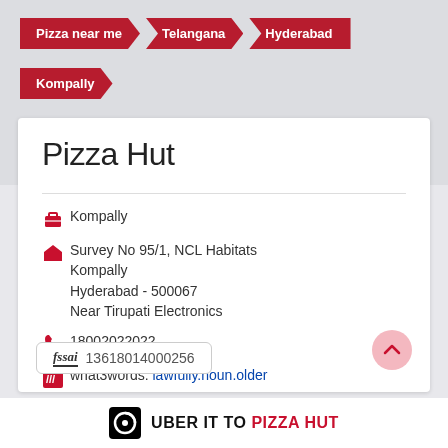Pizza near me
Telangana
Hyderabad
Kompally
Pizza Hut
Kompally
Survey No 95/1, NCL Habitats
Kompally
Hyderabad - 500067
Near Tirupati Electronics
18002022022
what3words: lawfully.noun.older
Opens at 11:00 AM
fssai 13618014000256
UBER IT TO PIZZA HUT